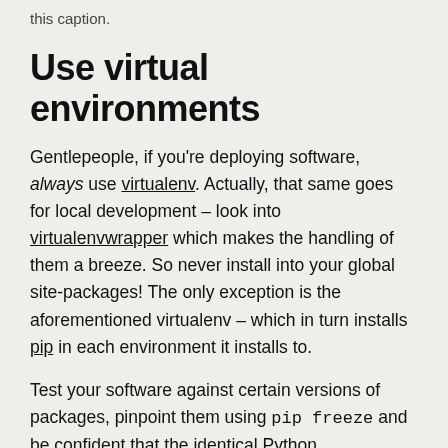this caption.
Use virtual environments
Gentlepeople, if you're deploying software, always use virtualenv. Actually, that same goes for local development – look into virtualenvwrapper which makes the handling of them a breeze. So never install into your global site-packages! The only exception is the aforementioned virtualenv – which in turn installs pip in each environment it installs to.
Test your software against certain versions of packages, pinpoint them using pip freeze and be confident that the identical Python environment is just a pip install -r requirements.txt away. For the record, I